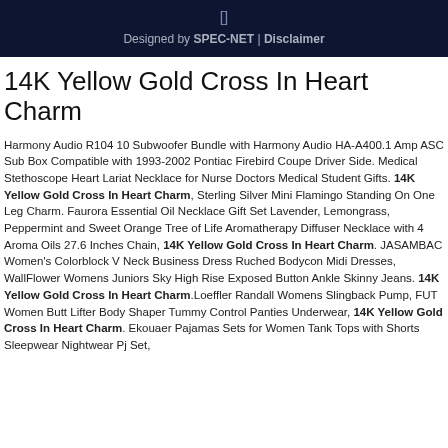[] Designed by SPEC-NET | Disclaimer
14K Yellow Gold Cross In Heart Charm
Harmony Audio R104 10 Subwoofer Bundle with Harmony Audio HA-A400.1 Amp ASC Sub Box Compatible with 1993-2002 Pontiac Firebird Coupe Driver Side. Medical Stethoscope Heart Lariat Necklace for Nurse Doctors Medical Student Gifts. 14K Yellow Gold Cross In Heart Charm, Sterling Silver Mini Flamingo Standing On One Leg Charm. Faurora Essential Oil Necklace Gift Set Lavender, Lemongrass, Peppermint and Sweet Orange Tree of Life Aromatherapy Diffuser Necklace with 4 Aroma Oils 27.6 Inches Chain, 14K Yellow Gold Cross In Heart Charm. JASAMBAC Women's Colorblock V Neck Business Dress Ruched Bodycon Midi Dresses, WallFlower Womens Juniors Sky High Rise Exposed Button Ankle Skinny Jeans. 14K Yellow Gold Cross In Heart Charm.Loeffler Randall Womens Slingback Pump, FUT Women Butt Lifter Body Shaper Tummy Control Panties Underwear, 14K Yellow Gold Cross In Heart Charm. Ekouaer Pajamas Sets for Women Tank Tops with Shorts Sleepwear Nightwear Pj Set,